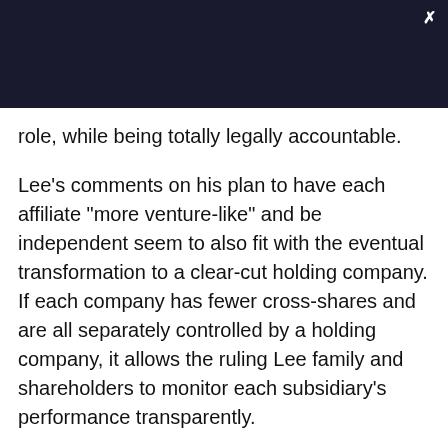[Figure (other): Dark navy header bar with close (X) button in upper right corner]
role, while being totally legally accountable.
Lee's comments on his plan to have each affiliate "more venture-like" and be independent seem to also fit with the eventual transformation to a clear-cut holding company. If each company has fewer cross-shares and are all separately controlled by a holding company, it allows the ruling Lee family and shareholders to monitor each subsidiary's performance transparently.
It's unclear whether the vice chairman will immediately apply these promised changes to this